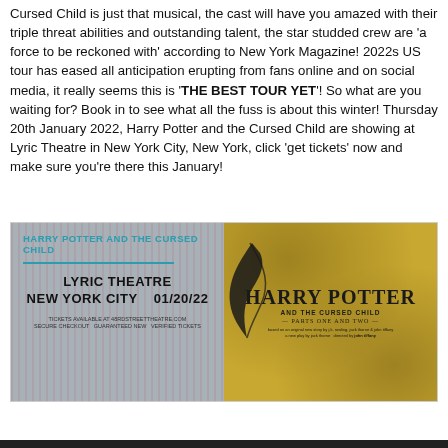Cursed Child is just that musical, the cast will have you amazed with their triple threat abilities and outstanding talent, the star studded crew are 'a force to be reckoned with' according to New York Magazine! 2022s US tour has eased all anticipation erupting from fans online and on social media, it really seems this is 'THE BEST TOUR YET'! So what are you waiting for? Book in to see what all the fuss is about this winter! Thursday 20th January 2022, Harry Potter and the Cursed Child are showing at Lyric Theatre in New York City, New York, click 'get tickets' now and make sure you're there this January!
[Figure (infographic): Two-panel promotional image for Harry Potter and the Cursed Child. Left panel: grey/pink striped background with teal text 'HARRY POTTER AND THE CURSED CHILD', teal divider line, bold black text 'LYRIC THEATRE NEW YORK CITY 01/20/22', small text 'TICKETS AVAILABLE AT 48RDSTREETTHEATRE.COM' and 'SECURE CHECKOUT GUARANTEED NEW VERIFIED TICKETS'. Right panel: golden/yellow distressed background with Harry Potter and the Cursed Child logo — 'HARRY POTTER' in large serif font, 'AND THE CURSED CHILD' below, '— PARTS ONE AND TWO —' and credits text.]